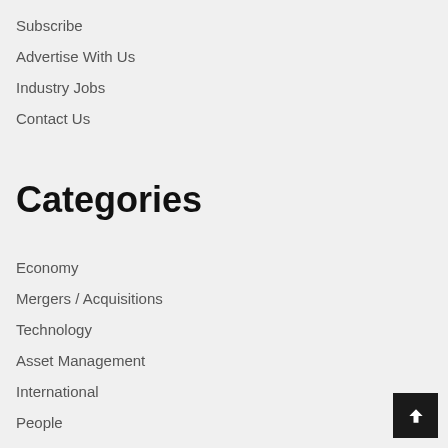Subscribe
Advertise With Us
Industry Jobs
Contact Us
Categories
Economy
Mergers / Acquisitions
Technology
Asset Management
International
People
Recent Earnings